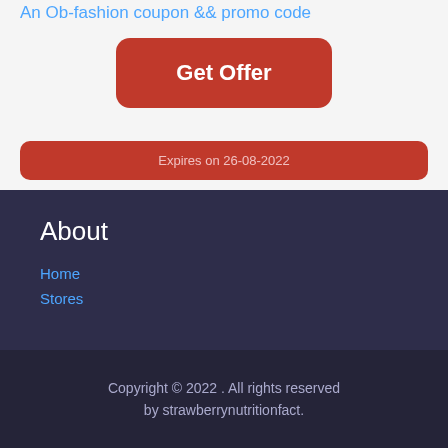An Ob-fashion coupon && promo code
Get Offer
Expires on 26-08-2022
About
Home
Stores
Copyright © 2022 . All rights reserved by strawberrynutritionfact.